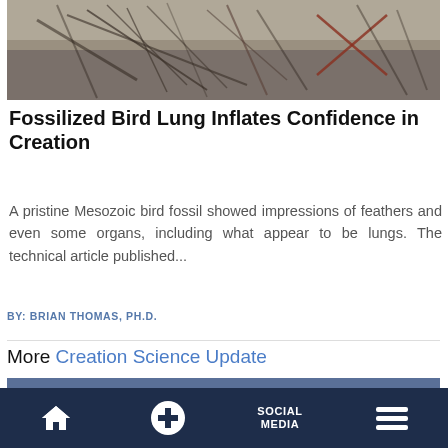[Figure (photo): Fossilized bird fossil showing feather impressions in stone, grey/brown rock background]
Fossilized Bird Lung Inflates Confidence in Creation
A pristine Mesozoic bird fossil showed impressions of feathers and even some organs, including what appear to be lungs. The technical article published...
BY: BRIAN THOMAS, PH.D.
More Creation Science Update
[Figure (photo): Desert landscape with sand dunes under a blue sky]
Home | + | SOCIAL MEDIA | Menu